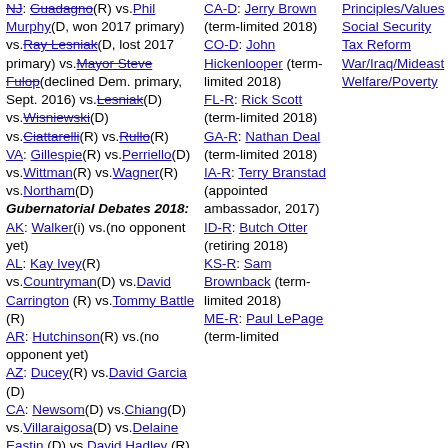NJ: Guadagno(R) vs.Phil Murphy(D, won 2017 primary) vs.Ray Lesniak(D, lost 2017 primary) vs.Mayor Steve Fulop(declined Dem. primary, Sept. 2016) vs.Lesniak(D) vs.Wisniewski(D) vs.Ciattarelli(R) vs.Rullo(R)
VA: Gillespie(R) vs.Perriello(D) vs.Wittman(R) vs.Wagner(R) vs.Northam(D)
Gubernatorial Debates 2018:
AK: Walker(i) vs.(no opponent yet)
AL: Kay Ivey(R) vs.Countryman(D) vs.David Carrington (R) vs.Tommy Battle (R)
AR: Hutchinson(R) vs.(no opponent yet)
AZ: Ducey(R) vs.David Garcia (D)
CA: Newsom(D) vs.Chiang(D) vs.Villaraigosa(D) vs.Delaine Eastin (D) vs.David Hadley (R)
CA-D: Jerry Brown (term-limited 2018)
CO-D: John Hickenlooper (term-limited 2018)
FL-R: Rick Scott (term-limited 2018)
GA-R: Nathan Deal (term-limited 2018)
IA-R: Terry Branstad (appointed ambassador, 2017)
ID-R: Butch Otter (retiring 2018)
KS-R: Sam Brownback (term-limited 2018)
ME-R: Paul LePage (term-limited
Principles/Values Social Security Tax Reform War/Iraq/Mideast Welfare/Poverty